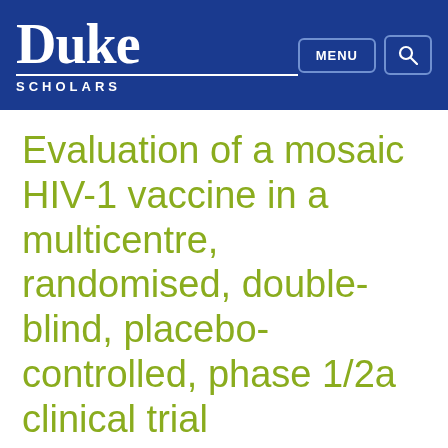Duke Scholars — MENU [search button]
Evaluation of a mosaic HIV-1 vaccine in a multicentre, randomised, double-blind, placebo-controlled, phase 1/2a clinical trial (APPROACH)